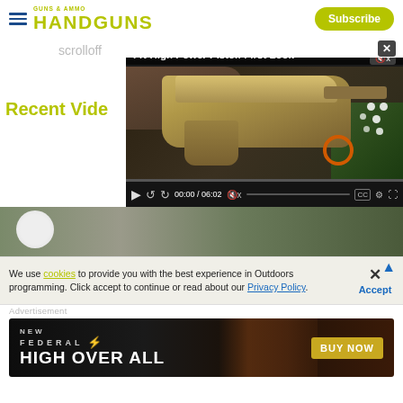HANDGUNS
Scrolloff
[Figure (screenshot): Video player showing 'FN High Power Pistol: First Look' with a tan/FDE pistol being held, video time 00:00 / 06:02, with playback controls]
Recent Videos
[Figure (photo): Thumbnail image showing a white sphere/ball on green background]
We use cookies to provide you with the best experience in Outdoors programming. Click accept to continue or read about our Privacy Policy.
Advertisement
[Figure (other): Federal High Overall ammunition advertisement banner with 'NEW', 'FEDERAL', 'HIGH OVER ALL', and 'BUY NOW' button on dark background with shells]